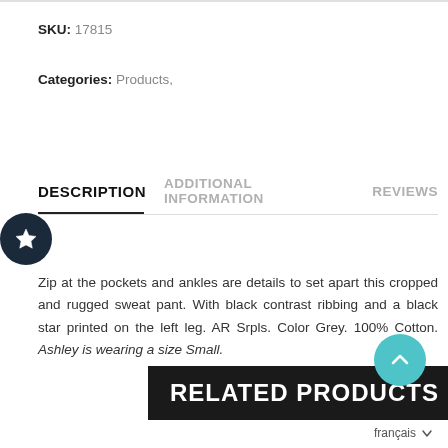SKU: 17815
Categories: Products,
DESCRIPTION  ADDITIONAL INFORMATION  REVIEWS
Zip at the pockets and ankles are details to set apart this cropped and rugged sweat pant. With black contrast ribbing and a black star printed on the left leg. AR Srpls. Color Grey. 100% Cotton. Ashley is wearing a size Small.
RELATED PRODUCTS
français